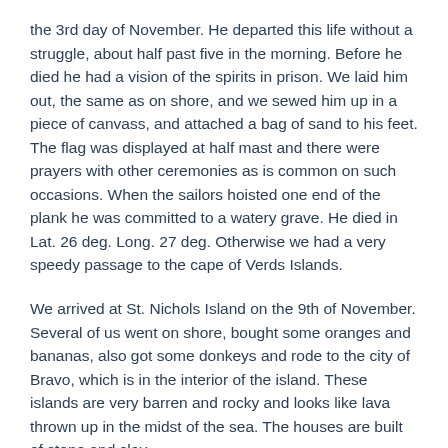the 3rd day of November. He departed this life without a struggle, about half past five in the morning. Before he died he had a vision of the spirits in prison. We laid him out, the same as on shore, and we sewed him up in a piece of canvass, and attached a bag of sand to his feet. The flag was displayed at half mast and there were prayers with other ceremonies as is common on such occasions. When the sailors hoisted one end of the plank he was committed to a watery grave. He died in Lat. 26 deg. Long. 27 deg. Otherwise we had a very speedy passage to the cape of Verds Islands.
We arrived at St. Nichols Island on the 9th of November. Several of us went on shore, bought some oranges and bananas, also got some donkeys and rode to the city of Bravo, which is in the interior of the island. These islands are very barren and rocky and looks like lava thrown up in the midst of the sea. The houses are built of stone and clay